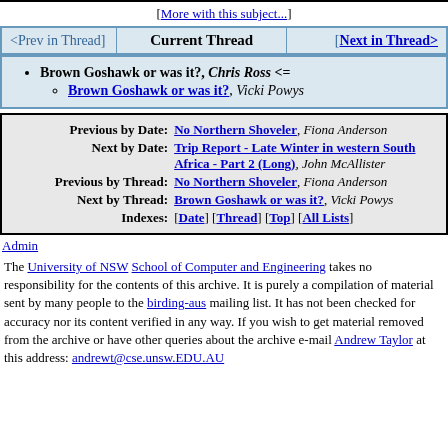[More with this subject...]
| <Prev in Thread] | Current Thread | [Next in Thread> |
| --- | --- | --- |
Brown Goshawk or was it?, Chris Ross <=
Brown Goshawk or was it?, Vicki Powys
| Label | Link |
| --- | --- |
| Previous by Date: | No Northern Shoveler, Fiona Anderson |
| Next by Date: | Trip Report - Late Winter in western South Africa - Part 2 (Long), John McAllister |
| Previous by Thread: | No Northern Shoveler, Fiona Anderson |
| Next by Thread: | Brown Goshawk or was it?, Vicki Powys |
| Indexes: | [Date] [Thread] [Top] [All Lists] |
Admin
The University of NSW School of Computer and Engineering takes no responsibility for the contents of this archive. It is purely a compilation of material sent by many people to the birding-aus mailing list. It has not been checked for accuracy nor its content verified in any way. If you wish to get material removed from the archive or have other queries about the archive e-mail Andrew Taylor at this address: andrewt@cse.unsw.EDU.AU